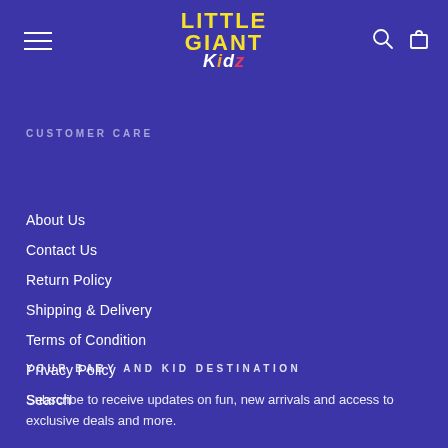[Figure (logo): Little Giant Kidz logo with yellow bold text 'LITTLE GIANT' and white italic 'Kidz' with colored letters]
CUSTOMER CARE
About Us
Contact Us
Return Policy
Shipping & Delivery
Terms of Condition
Privacy Policy
Search
YOUR BABY AND KID DESTINATION
Subscribe to receive updates on fun, new arrivals and access to exclusive deals and more.